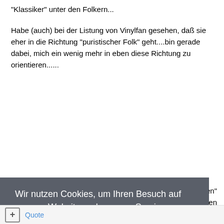"Klassiker" unter den Folkern...
Habe (auch) bei der Listung von Vinylfan gesehen, daß sie eher in die Richtung "puristischer Folk" geht....bin gerade dabei, mich ein wenig mehr in eben diese Richtung zu orientieren......
igigen" ...legen
Wir nutzen Cookies, um Ihren Besuch auf unserer Website und unseren Service zu optimieren. Wir betrachten die weitere Nutzung unserer Website als Zustimmung zu der Verwendung von Cookies. Learn More
Got it!
Quote